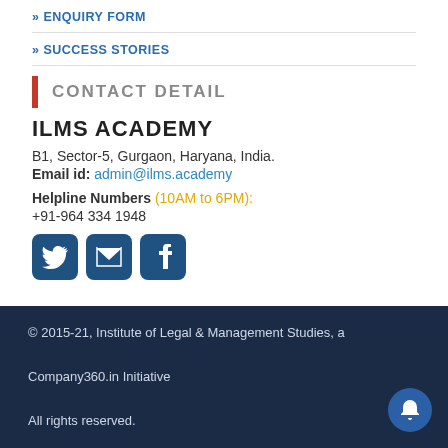» ENQUIRY FORM
» SUCCESS STORIES
CONTACT DETAIL
ILMS ACADEMY
B1, Sector-5, Gurgaon, Haryana, India.
Email id: admin@ilms.academy
Helpline Numbers (10AM to 6PM):
+91-964 334 1948
[Figure (illustration): Three social media icons: Twitter, Email, Facebook in dark blue rounded squares]
© 2015-21, Institute of Legal & Management Studies, a Company360.in Initiative
All rights reserved.